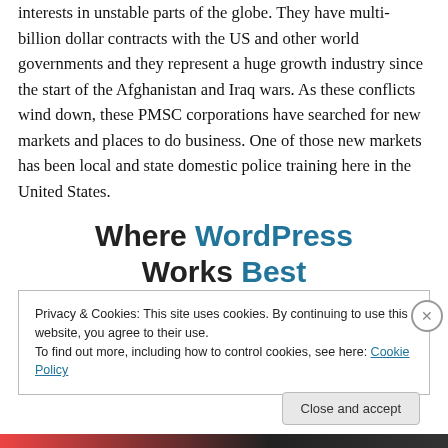interests in unstable parts of the globe. They have multi-billion dollar contracts with the US and other world governments and they represent a huge growth industry since the start of the Afghanistan and Iraq wars. As these conflicts wind down, these PMSC corporations have searched for new markets and places to do business. One of those new markets has been local and state domestic police training here in the United States.
Where WordPress Works Best
Privacy & Cookies: This site uses cookies. By continuing to use this website, you agree to their use.
To find out more, including how to control cookies, see here: Cookie Policy
Close and accept